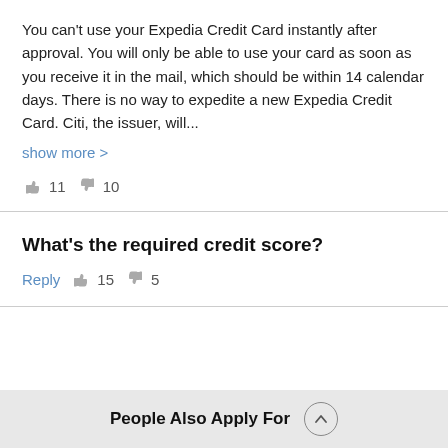You can't use your Expedia Credit Card instantly after approval. You will only be able to use your card as soon as you receive it in the mail, which should be within 14 calendar days. There is no way to expedite a new Expedia Credit Card. Citi, the issuer, will...
show more >
👍 11  👎 10
What's the required credit score?
Reply  👍 15  👎 5
People Also Apply For